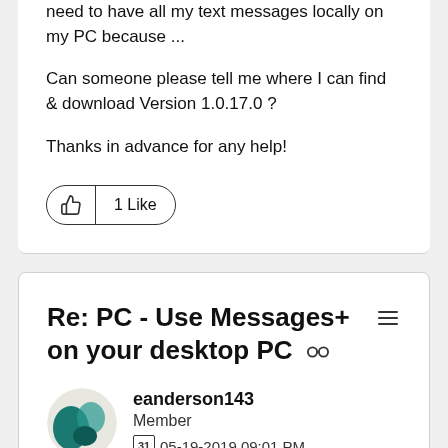need to have all my text messages locally on my PC because ...
Can someone please tell me where I can find & download Version 1.0.17.0 ?
Thanks in advance for any help!
[Figure (other): 1 Like button with thumbs up icon]
Re: PC - Use Messages+ on your desktop PC
eanderson143
Member
05-19-2019 09:01 PM